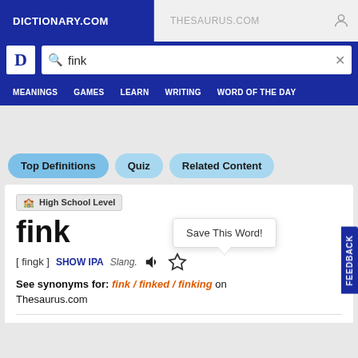DICTIONARY.COM | THESAURUS.COM
[Figure (screenshot): Dictionary.com search bar with 'fink' typed in]
MEANINGS  GAMES  LEARN  WRITING  WORD OF THE DAY
Top Definitions  Quiz  Related Content
🏫 High School Level
fink
Save This Word!
[ fingk ] SHOW IPA Slang.
See synonyms for: fink / finked / finking on Thesaurus.com